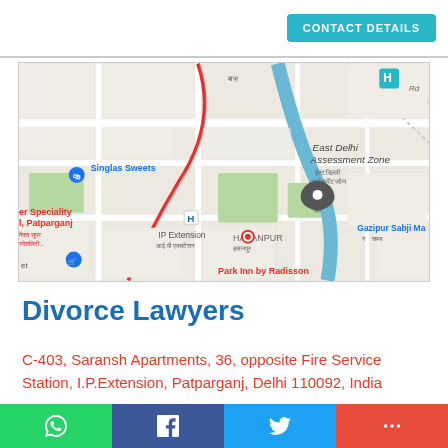CONTACT DETAILS
[Figure (map): Google Maps showing East Delhi Assessment Zone area with markers for Singlas Sweets, IP Extension, Hasanpur, and Gazipur Sabji Mandi locations. A location pin is visible near the centre of the map.]
Divorce Lawyers
C-403, Saransh Apartments, 36, opposite Fire Service Station, I.P.Extension, Patparganj, Delhi 110092, India
Location: (28.6262538, 77.3069046)
WhatsApp | Facebook | Twitter | More